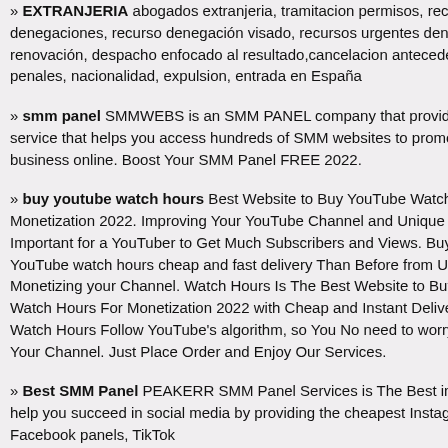EXTRANJERIA abogados extranjeria, tramitacion permisos, recursos ante denegaciones, recurso denegación visado, recursos urgentes denegación renovación, despacho enfocado al resultado,cancelacion antecedentes penales, nacionalidad, expulsion, entrada en España
smm panel SMMWEBS is an SMM PANEL company that provides a service that helps you access hundreds of SMM websites to promote your business online. Boost Your SMM Panel FREE 2022.
buy youtube watch hours Best Website to Buy YouTube Watch Hours For Monetization 2022. Improving Your YouTube Channel and Unique Content is Important for a YouTuber to Get Much Subscribers and Views. Buying 4000 YouTube watch hours cheap and fast delivery Than Before from Us and Monetizing your Channel. Watch Hours Is The Best Website to Buy YouTube Watch Hours For Monetization 2022 with Cheap and Instant Delivery. Our Watch Hours Follow YouTube's algorithm, so You No need to worry about Your Channel. Just Place Order and Enjoy Our Services.
Best SMM Panel PEAKERR SMM Panel Services is The Best in 2022 will help you succeed in social media by providing the cheapest Instagram panels, Facebook panels, TikTok
[Figure (infographic): Advertisement box with dark red bold text 'PUT YOUR 46' and text 'only $1/dire']